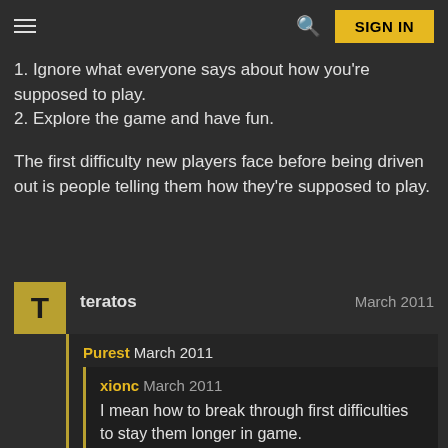SIGN IN
1. Ignore what everyone says about how you're supposed to play.
2. Explore the game and have fun.
The first difficulty new players face before being driven out is people telling them how they're supposed to play.
teratos  March 2011
Purest March 2011
xionc March 2011
I mean how to break through first difficulties to stay them longer in game.